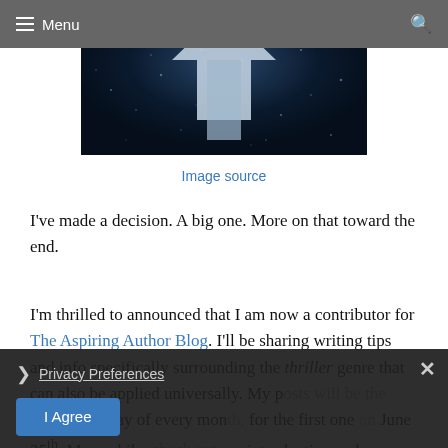Menu  [search]
[Figure (photo): Dark atmospheric image with an upward-pointing arrow shape, blue and black tones with scattered light particles]
Image source
I've made a decision. A big one. More on that toward the end.
I'm thrilled to announced that I am now a contributor for The Aspiring Author Blog. I'll be sharing writing tips and info specifically surrounding the thriller genre that can also be applied universally. My posts will be the fourth Monday of every month for the first one on June 25th. Meanwhile, check out my introduction and
Privacy Preferences  [close ×]  I Agree